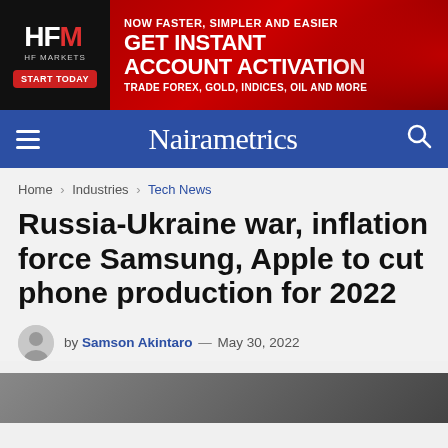[Figure (other): HFM HF Markets advertisement banner. Black left panel with HFM logo and START TODAY red button. Red right panel with text: NOW FASTER, SIMPLER AND EASIER / GET INSTANT ACCOUNT ACTIVATION / TRADE FOREX, GOLD, INDICES, OIL AND MORE]
Nairametrics
Home > Industries > Tech News
Russia-Ukraine war, inflation force Samsung, Apple to cut phone production for 2022
by Samson Akintaro — May 30, 2022
[Figure (photo): Bottom portion of an article image, partially visible]